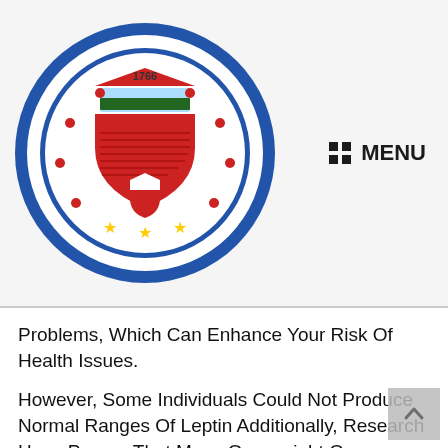[Figure (logo): Circular seal/logo of Rizal Province, Philippines, featuring text 'PROBINSYA NG RIZAL' around the border with '1766' and a central shield emblem with stars at the bottom.]
MENU
Problems, Which Can Enhance Your Risk Of Health Issues.
However, Some Individuals Could Not Produce Normal Ranges Of Leptin Additionally, Research Have Proven That Many Overweight Or Overweight Individuals Have Developed A Resistance To Leptin Alli Weight Loss And That Dropping Physique Fat Can Improve Leptin Sensitivity However, It Might Be Past Complicated For Customers, Not Understanding Which Products Are Value